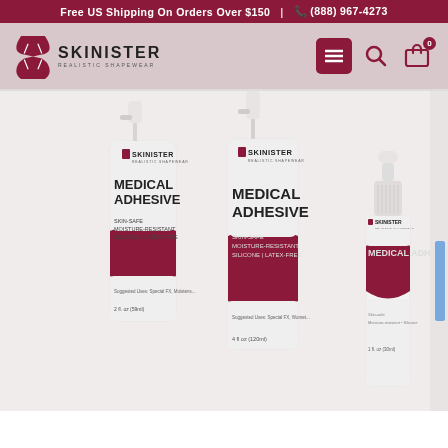Free US Shipping On Orders Over $150  |  (888) 967-4273
[Figure (logo): Skinister Realistic Shapewear logo with hourglass figure icon]
[Figure (photo): Three Skinister Medical Adhesive product bottles — two spray pump bottles and one dropper bottle — displayed on white/light background. Labels show MEDICAL ADHESIVE, SKIN-SAFE, MOISTURE-RESISTANT, SILICONE | LATEX-FREE with Skinister Realistic Shapewear branding in dark maroon/white.]